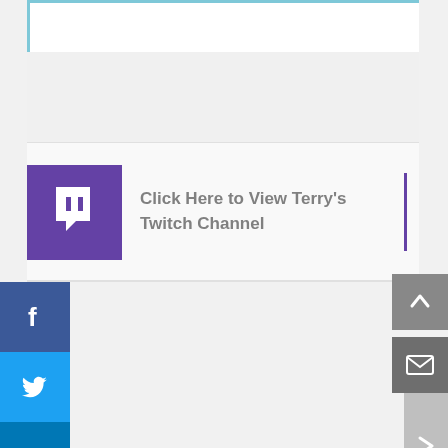[Figure (screenshot): Top white bar with blue-teal left and top border, partial UI element]
[Figure (screenshot): Twitch channel card with purple Twitch logo icon and link text 'Click Here to View Terry's Twitch Channel']
Click Here to View Terry's Twitch Channel
[Figure (screenshot): Social media share sidebar with Facebook (blue), Twitter (light blue), LinkedIn (dark blue) buttons, and a + more button]
[Figure (screenshot): Gray right arrow navigation button on right edge]
[Figure (screenshot): Gray scroll-to-top button with upward arrow]
[Figure (screenshot): Gray email/envelope button]